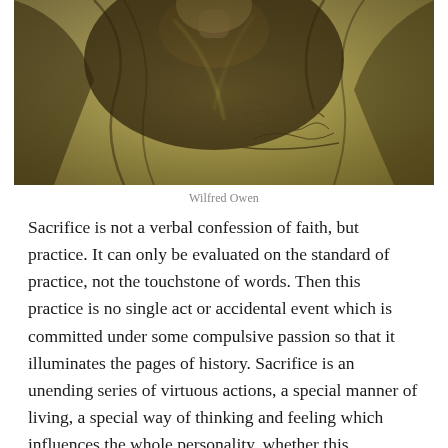[Figure (photo): Sepia-toned historical photograph or drawing of Wilfred Owen, showing him in period clothing, with a handwritten signature or inscription in the lower right of the image.]
Wilfred Owen
Sacrifice is not a verbal confession of faith, but practice. It can only be evaluated on the standard of practice, not the touchstone of words. Then this practice is no single act or accidental event which is committed under some compulsive passion so that it illuminates the pages of history. Sacrifice is an unending series of virtuous actions, a special manner of living, a special way of thinking and feeling which influences the whole personality, whether this personality be of an individual or of a nation.